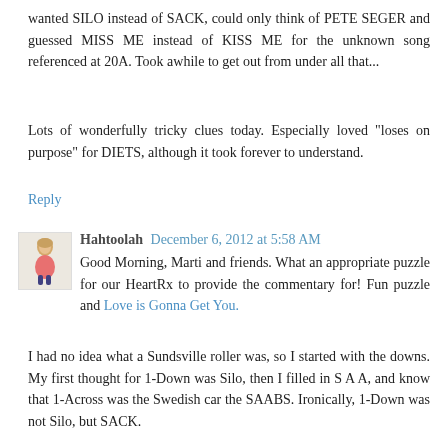wanted SILO instead of SACK, could only think of PETE SEGER and guessed MISS ME instead of KISS ME for the unknown song referenced at 20A. Took awhile to get out from under all that...
Lots of wonderfully tricky clues today. Especially loved "loses on purpose" for DIETS, although it took forever to understand.
Reply
Hahtoolah  December 6, 2012 at 5:58 AM
Good Morning, Marti and friends. What an appropriate puzzle for our HeartRx to provide the commentary for! Fun puzzle and Love is Gonna Get You.
I had no idea what a Sundsville roller was, so I started with the downs. My first thought for 1-Down was Silo, then I filled in S A A, and know that 1-Across was the Swedish car the SAABS. Ironically, 1-Down was not Silo, but SACK.